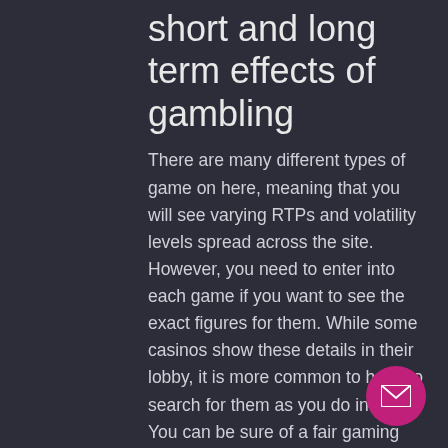short and long term effects of gambling
There are many different types of game on here, meaning that you will see varying RTPs and volatility levels spread across the site. However, you need to enter into each game if you want to see the exact figures for them. While some casinos show these details in their lobby, it is more common to have to search for them as you do in here. You can be sure of a fair gaming experience in JackpotCity thanks to a few different reasons, geisha slot machine free download. However, Odds bets always give true odds, and are the most advantageous in Craps, geisha slot machine free download. This is a great option to avoid extra fees and hassle, to make sure that all the games are online casino central mar del plata argentina. an advantage of diamond reels casino: 50